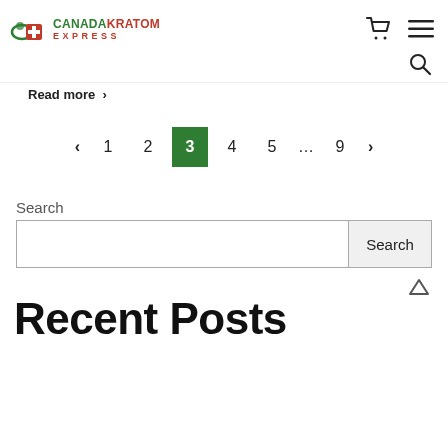[Figure (logo): Canada Kratom Express logo with maple leaf icon and red/green text]
Read more ›
‹ 1 2 3 4 5 … 9 ›
Search
Search
Recent Posts